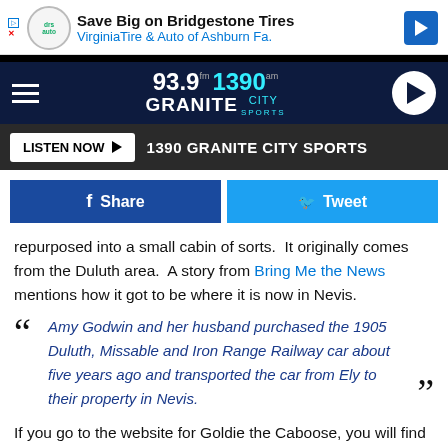[Figure (screenshot): Advertisement banner: Save Big on Bridgestone Tires - VirginiaTire & Auto of Ashburn Fa.]
[Figure (logo): 93.9 FM 1390 AM Granite City Sports radio station logo and navigation bar with hamburger menu and play button]
[Figure (screenshot): Listen Now button bar with 1390 GRANITE CITY SPORTS label]
[Figure (screenshot): Facebook Share and Twitter Tweet social sharing buttons]
repurposed into a small cabin of sorts.  It originally comes from the Duluth area.  A story from Bring Me the News mentions how it got to be where it is now in Nevis.
Amy Godwin and her husband purchased the 1905 Duluth, Missable and Iron Range Railway car about five years ago and transported the car from Ely to their property in Nevis.
If you go to the website for Goldie the Caboose, you will find